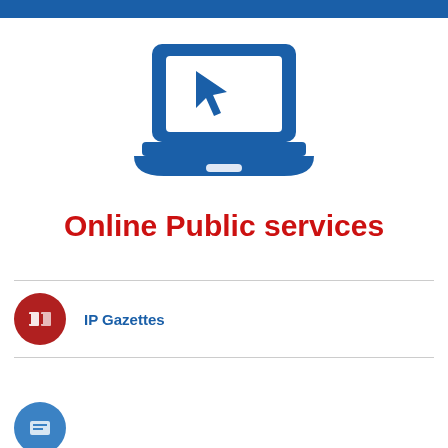[Figure (illustration): Blue laptop icon with a mouse cursor arrow on the screen]
Online Public services
IP Gazettes
[Figure (illustration): Blue circular icon partially visible at bottom]